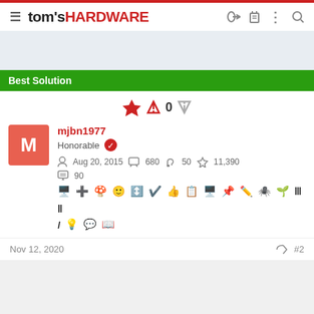tom's HARDWARE
Best Solution
mjbn1977
Honorable
Aug 20, 2015   680   50   11,390
90
Nov 12, 2020   #2